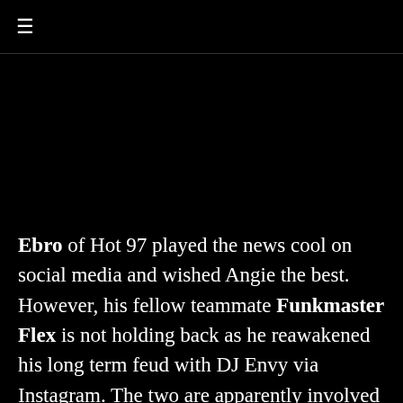≡
[Figure (photo): Black image area below the navigation header]
Ebro of Hot 97 played the news cool on social media and wished Angie the best. However, his fellow teammate Funkmaster Flex is not holding back as he reawakened his long term feud with DJ Envy via Instagram. The two are apparently involved in some kind of drama that led to a Cease & Desist order being filed. It is believed that the feuding between the two stations will only get worse from here on out. What a